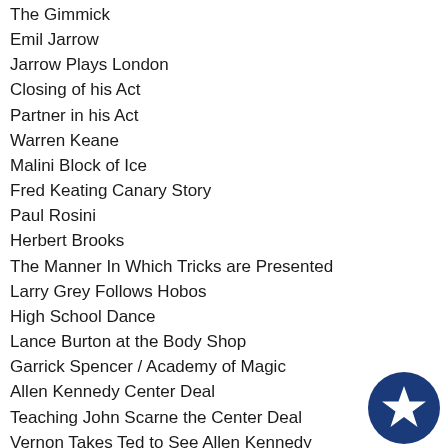The Gimmick
Emil Jarrow
Jarrow Plays London
Closing of his Act
Partner in his Act
Warren Keane
Malini Block of Ice
Fred Keating Canary Story
Paul Rosini
Herbert Brooks
The Manner In Which Tricks are Presented
Larry Grey Follows Hobos
High School Dance
Lance Burton at the Body Shop
Garrick Spencer / Academy of Magic
Allen Kennedy Center Deal
Teaching John Scarne the Center Deal
Vernon Takes Ted to See Allen Kennedy
Mrs. Vernon Meets Mexican Joe
[Figure (illustration): Dark navy blue circle badge with a white star in the center]